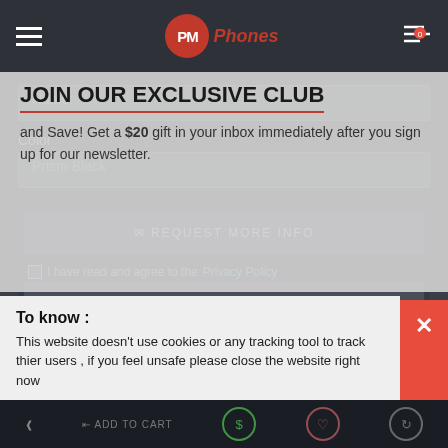[Figure (screenshot): PM Phones website navigation bar with hamburger menu, PM Phones logo, and cart icon with badge showing 0]
Name:
Color *
Prism Black
REQUEST MORE INFO
I have read and agree to the Privacy Policy
CARD
JOIN OUR EXCLUSIVE CLUB
and Save! Get a $20 gift in your inbox immediately after you sign up for our newsletter.
To know :
This website doesn't use cookies or any tracking tool to track thier users , if you feel unsafe please close the website right now
ADD TO CART